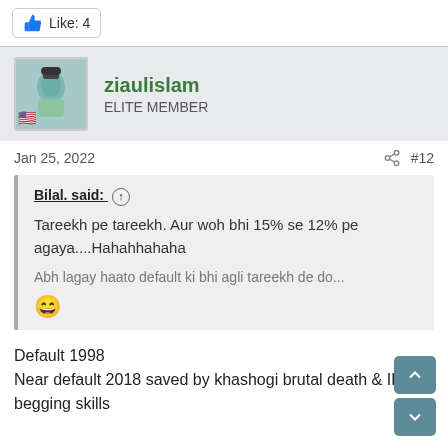Like: 4
ziaulislam
ELITE MEMBER
Jan 25, 2022   #12
Bilal. said:
Tareekh pe tareekh. Aur woh bhi 15% se 12% pe agaya....Hahahhahaha

Abh lagay haato default ki bhi agli tareekh de do...
Default 1998
Near default 2018 saved by khashogi brutal death & IK begging skills